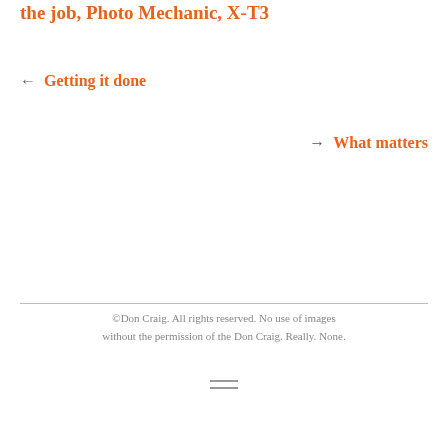the job, Photo Mechanic, X-T3
← Getting it done
→ What matters
©Don Craig. All rights reserved. No use of images without the permission of the Don Craig. Really. None.